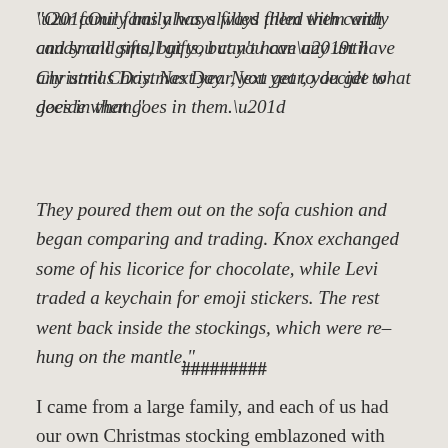“Our family has always filled them with candy and small gifts, but you can’t have any until Christmas Day. Next year, you get to decide what goes in them.”
They poured them out on the sofa cushion and began comparing and trading. Knox exchanged some of his licorice for chocolate, while Levi traded a keychain for emoji stickers. The rest went back inside the stockings, which were re–hung on the mantle.”
#########
I came from a large family, and each of us had our own Christmas stocking emblazoned with